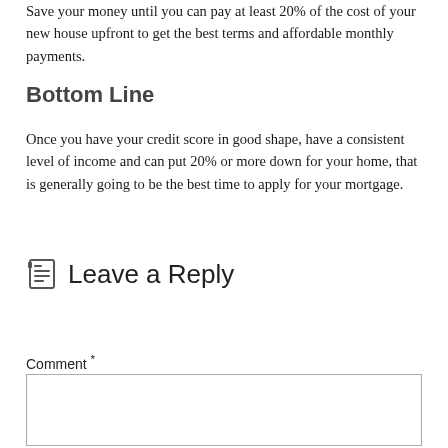Save your money until you can pay at least 20% of the cost of your new house upfront to get the best terms and affordable monthly payments.
Bottom Line
Once you have your credit score in good shape, have a consistent level of income and can put 20% or more down for your home, that is generally going to be the best time to apply for your mortgage.
Leave a Reply
Comment *
[Figure (other): Empty comment text area input box]